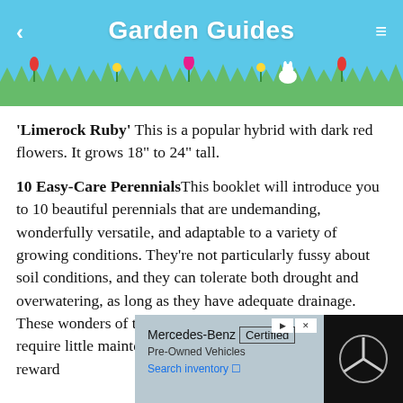Garden Guides
'Limerock Ruby' This is a popular hybrid with dark red flowers. It grows 18" to 24" tall.
10 Easy-Care Perennials This booklet will introduce you to 10 beautiful perennials that are undemanding, wonderfully versatile, and adaptable to a variety of growing conditions. They're not particularly fussy about soil conditions, and they can tolerate both drought and overwatering, as long as they have adequate drainage. These wonders of the perennial world grow quickly, require little maintenance, and reward... ...geous foliage...
[Figure (screenshot): Mercedes-Benz Certified Pre-Owned Vehicles advertisement overlay with Search inventory link and Mercedes-Benz logo on black background]